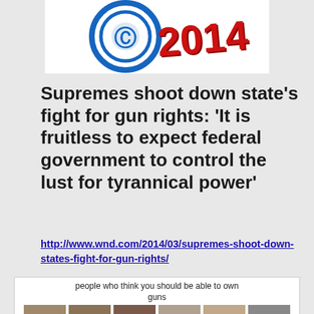[Figure (illustration): Partial view of a logo with blue circular element and red 3D '2014' text on white background]
Supremes shoot down state’s fight for gun rights: ‘It is fruitless to expect federal government to control the lust for tyrannical power’
http://www.wnd.com/2014/03/supremes-shoot-down-states-fight-for-gun-rights/
[Figure (illustration): Image showing portraits of historical figures (Washington, Jefferson, Madison, Lincoln, Gandhi, MLK) under caption 'people who think you should be able to own guns']